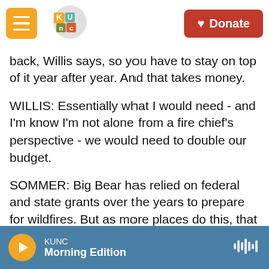KUNC | Donate
back, Willis says, so you have to stay on top of it year after year. And that takes money.
WILLIS: Essentially what I would need - and I'm know I'm not alone from a fire chief's perspective - we would need to double our budget.
SOMMER: Big Bear has relied on federal and state grants over the years to prepare for wildfires. But as more places do this, that money is harder to get. In March, the community also voted down a new tax measure for the fire department, so now the department is looking at cutting firefighting staff.
KUNC Morning Edition